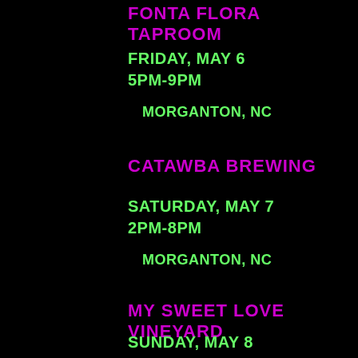FONTA FLORA TAPROOM
FRIDAY, MAY 6
5PM-9PM
MORGANTON, NC
CATAWBA BREWING
SATURDAY, MAY 7
2PM-8PM
MORGANTON, NC
MY SWEET LOVE VINEYARD
SUNDAY, MAY 8
12PM-6PM